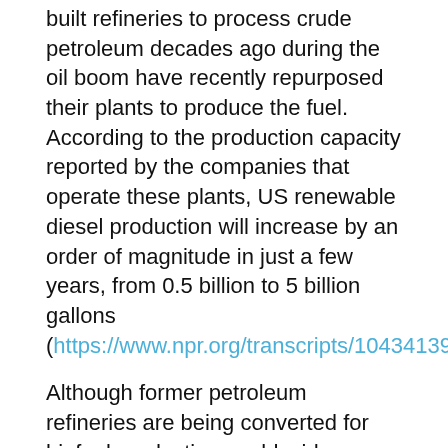built refineries to process crude petroleum decades ago during the oil boom have recently repurposed their plants to produce the fuel. According to the production capacity reported by the companies that operate these plants, US renewable diesel production will increase by an order of magnitude in just a few years, from 0.5 billion to 5 billion gallons (https://www.npr.org/transcripts/1043413986).
Although former petroleum refineries are being converted for biofuel production world-wide, economics is driving US companies to make the switch, especially on the West Coast. “California is currently the only state that has The Low Carbon Fuel Standard program that incentives the selling of these products,” says Yeh.
For nearly 20 years, California governors have legislated for the use of cleaner fuels. Most recently, the regulatory goal is to eliminate petroleum diesel emissions by 2030. According to Yeh, that will require 4 billion gallons of diesel equivalent biofuels yearly, for the state of California alone.